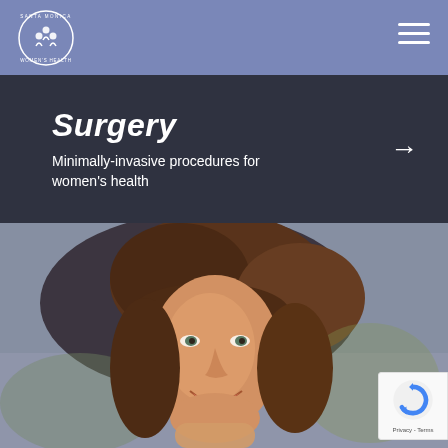Santa Monica Women's Health
Surgery
Minimally-invasive procedures for women's health
[Figure (photo): Smiling middle-aged woman with auburn hair, looking upward, chin resting on hand, with a warm blurred outdoor background]
[Figure (other): reCAPTCHA badge with Privacy and Terms links]